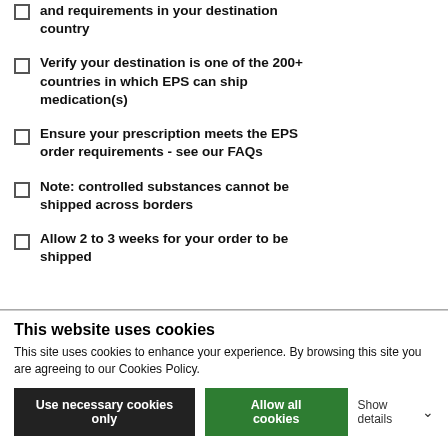and requirements in your destination country
Verify your destination is one of the 200+ countries in which EPS can ship medication(s)
Ensure your prescription meets the EPS order requirements - see our FAQs
Note: controlled substances cannot be shipped across borders
Allow 2 to 3 weeks for your order to be shipped
This website uses cookies
This site uses cookies to enhance your experience. By browsing this site you are agreeing to our Cookies Policy.
Use necessary cookies only | Allow all cookies | Show details